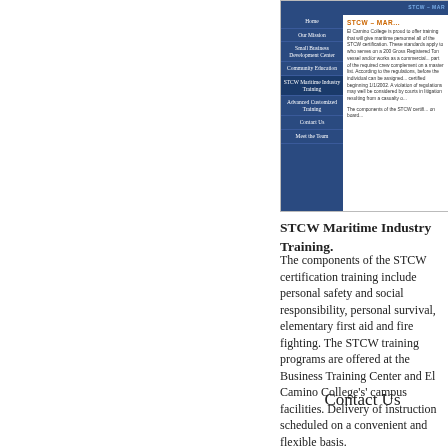[Figure (screenshot): Screenshot of El Camino College STCW Maritime Industry Training webpage showing a blue navigation menu on the left with items: Home, Our Mission, Small Business Development Center, Community Education, STCW Maritime Industry Training (highlighted), Advanced Customized Training, Contact Us, Meet the Team; and text content on the right about STCW certification training details.]
STCW Maritime Industry Training.
The components of the STCW certification training include personal safety and social responsibility, personal survival, elementary first aid and fire fighting. The STCW training programs are offered at the Business Training Center and El Camino College's campus facilities. Delivery of instruction scheduled on a convenient and flexible basis.
Contact Us